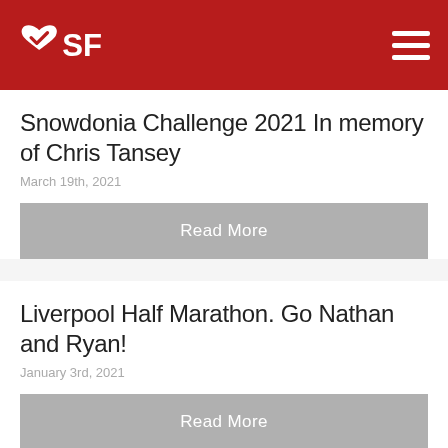VSF
Snowdonia Challenge 2021 In memory of Chris Tansey
March 19th, 2021
Read More
Liverpool Half Marathon. Go Nathan and Ryan!
January 3rd, 2021
Read More